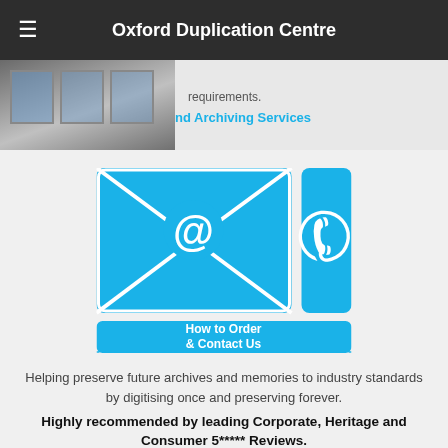Oxford Duplication Centre
[Figure (screenshot): Partial image of a building/storefront on the left, with partial text 'requirements.' and a blue link 'Archiving Services' visible on the right]
[Figure (infographic): Blue graphic showing an email envelope icon with @ symbol, a phone handset icon, and a button reading 'How to Order & Contact Us']
Helping preserve future archives and memories to industry standards by digitising once and preserving forever.
Highly recommended by leading Corporate, Heritage and Consumer 5***** Reviews.